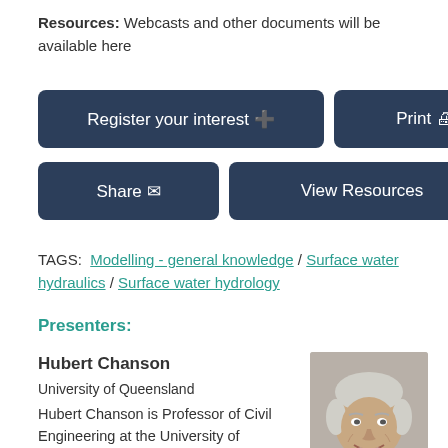Resources: Webcasts and other documents will be available here
[Figure (screenshot): Register your interest button with plus icon]
[Figure (screenshot): Print button with printer icon]
[Figure (screenshot): Share button with envelope icon]
[Figure (screenshot): View Resources button]
TAGS:  Modelling - general knowledge / Surface water hydraulics / Surface water hydrology
Presenters:
Hubert Chanson
University of Queensland
Hubert Chanson is Professor of Civil Engineering at the University of Queensland, where he has been since 1990, having previously enjoyed an industrial career for six years. His main field of expertis... Read
[Figure (photo): Portrait photo of Hubert Chanson, a smiling man with grey/white hair]